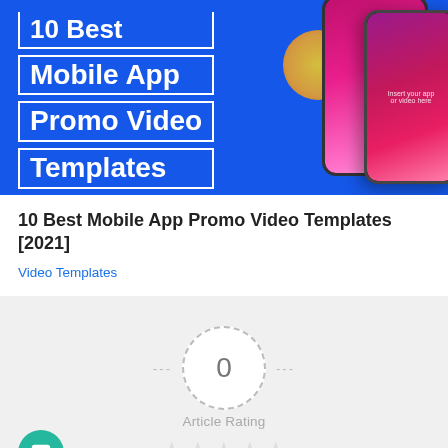[Figure (illustration): Promotional thumbnail image with blue background showing text '10 Best Mobile App Promo Video Templates' on left side with two smartphones on the right side.]
10 Best Mobile App Promo Video Templates [2021]
Video Templates
[Figure (infographic): Article rating widget with a dashed circle showing '0', dashes on either side, 'Article Rating' label below, and 5 empty stars.]